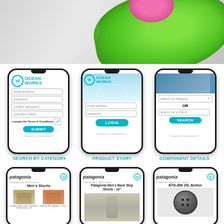[Figure (photo): Top portion showing green plastic object and pink element on grey background]
[Figure (screenshot): Three mobile phones showing OceanWorks app: registration form, login form, and search by category screens]
SEARCH BY CATEGORY
PRODUCT STORY
COMPONENT DETAILS
[Figure (screenshot): Three mobile phones showing Patagonia website integration: Men's Shorts category, Back Step Shorts product story, BTN-006 20L Button component details]